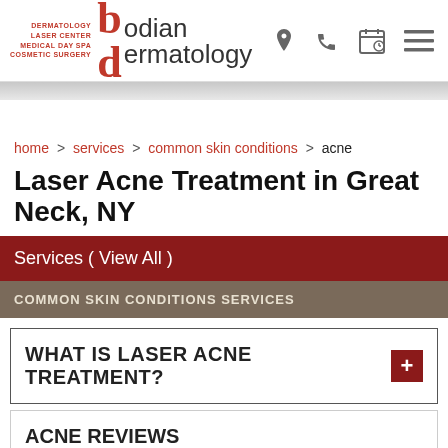DERMATOLOGY LASER CENTER MEDICAL DAY SPA COSMETIC SURGERY bodian dermatology
home > services > common skin conditions > acne
Laser Acne Treatment in Great Neck, NY
Services ( View All )
COMMON SKIN CONDITIONS SERVICES
WHAT IS LASER ACNE TREATMENT?
ACNE REVIEWS
"I have been going to this practice since Dr Bodian's dad was the dermatologist! Went to him for